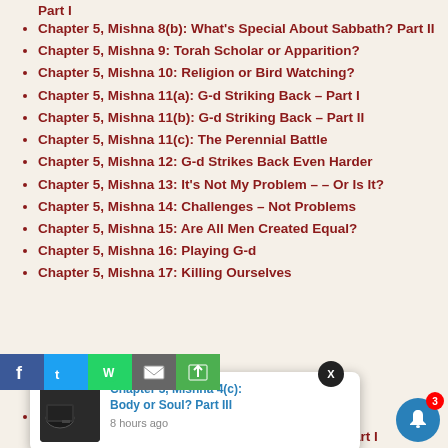Part I
Chapter 5, Mishna 8(b): What's Special About Sabbath? Part II
Chapter 5, Mishna 9: Torah Scholar or Apparition?
Chapter 5, Mishna 10: Religion or Bird Watching?
Chapter 5, Mishna 11(a): G-d Striking Back – Part I
Chapter 5, Mishna 11(b): G-d Striking Back – Part II
Chapter 5, Mishna 11(c): The Perennial Battle
Chapter 5, Mishna 12: G-d Strikes Back Even Harder
Chapter 5, Mishna 13: It's Not My Problem – – Or Is It?
Chapter 5, Mishna 14: Challenges – Not Problems
Chapter 5, Mishna 15: Are All Men Created Equal?
Chapter 5, Mishna 16: Playing G-d
Chapter 5, Mishna 17: Killing Ourselves
…ve Memory
…dless Arguments
Chapter 5, Mishna 21(a) : Beyond the Bounds – Part I
[Figure (screenshot): Video popup with thumbnail of a mug and title 'Chapter 3, Mishna 4(c): Body or Soul? Part III', timestamp '8 hours ago']